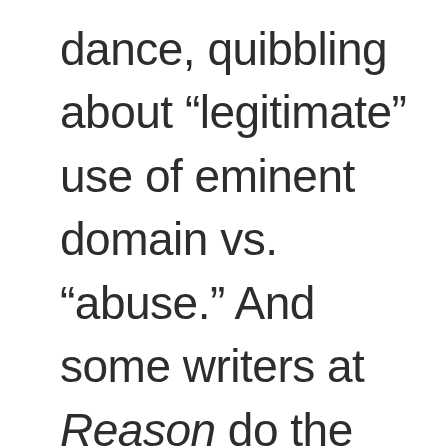dance, quibbling about „legitimate” use of eminent domain vs. „abuse.” And some writers at Reason do the